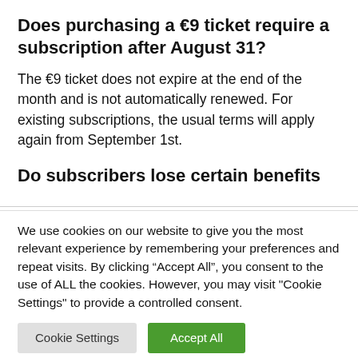Does purchasing a €9 ticket require a subscription after August 31?
The €9 ticket does not expire at the end of the month and is not automatically renewed. For existing subscriptions, the usual terms will apply again from September 1st.
Do subscribers lose certain benefits
We use cookies on our website to give you the most relevant experience by remembering your preferences and repeat visits. By clicking “Accept All”, you consent to the use of ALL the cookies. However, you may visit "Cookie Settings" to provide a controlled consent.